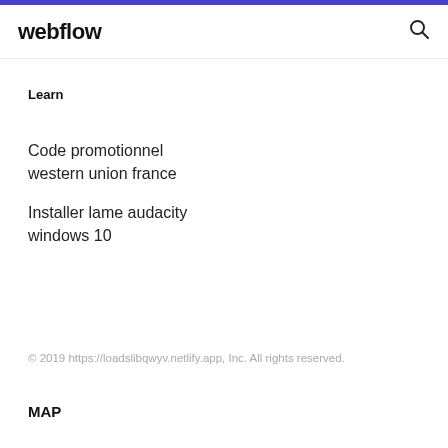webflow
Learn
Code promotionnel western union france
Installer lame audacity windows 10
© 2019 https://loadslibqwyv.netlify.app, Inc. All rights reserved.
MAP